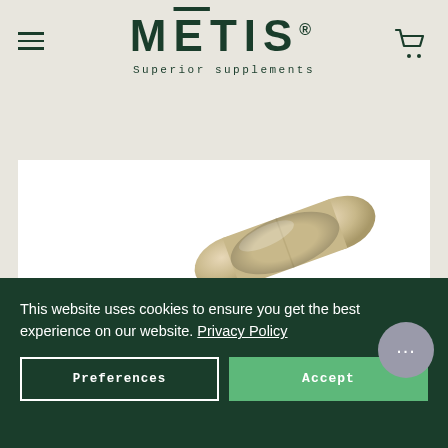METIS Superior supplements
[Figure (photo): A beige/tan supplement capsule pill on a white background with the word 'Ginseng' in large dark green bold text]
This website uses cookies to ensure you get the best experience on our website. Privacy Policy
Preferences | Accept